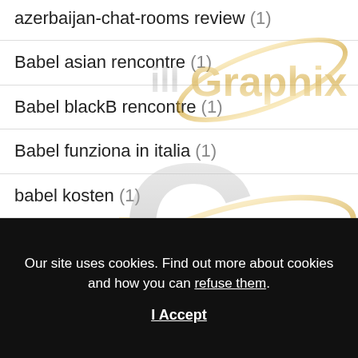azerbaijan-chat-rooms review (1)
Babel asian rencontre (1)
Babel blackB rencontre (1)
Babel funziona in italia (1)
babel kosten (1)
babel login (1)
Baccarat best casinos (1)
[Figure (logo): illGraphix watermark logo — gold and silver stylized text 'illGraphix' with orbital ring, appearing multiple times as watermark overlay]
Our site uses cookies. Find out more about cookies and how you can refuse them.
I Accept